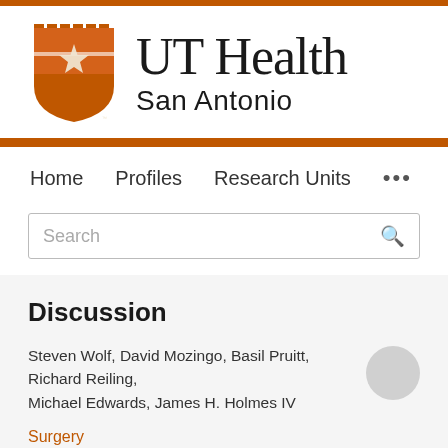[Figure (logo): UT Health San Antonio logo with orange shield bearing a white star and serif text 'UT Health San Antonio']
Home   Profiles   Research Units   ...
Search
Discussion
Steven Wolf, David Mozingo, Basil Pruitt, Richard Reiling, Michael Edwards, James H. Holmes IV
Surgery